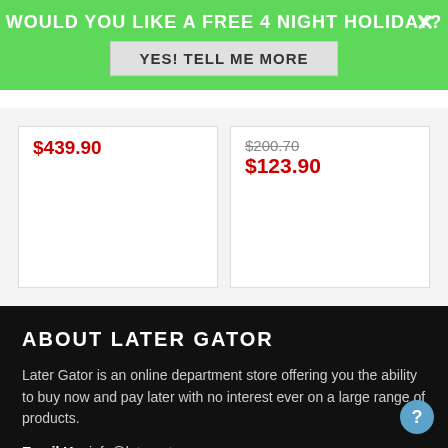WOULD YOU LIKE A FREE 4 NIGHT HOLIDAY?
YES! TELL ME MORE
$439.90
$200.70 $123.90
ABOUT LATER GATOR
Later Gator is an online department store offering you the ability to buy now and pay later with no interest ever on a large range of products.
Email Us: info@latergator.com.au
Call Us: (07) 3130 0205